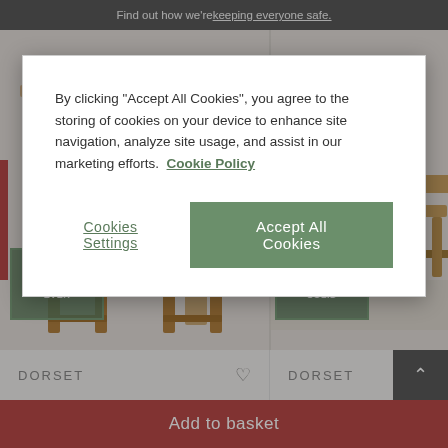Find out how we're keeping everyone safe.
[Figure (photo): Furniture product images: dining chairs with brown leather upholstery and wooden legs on the left, wooden bench and stool on the right. Badges overlay: 'NO CHIPBOARD EVER' on left, 'ALWAYS 100% SOLID' on right.]
By clicking “Accept All Cookies”, you agree to the storing of cookies on your device to enhance site navigation, analyze site usage, and assist in our marketing efforts.  Cookie Policy
Cookies Settings
Accept All Cookies
DORSET
DORSET
Add to basket